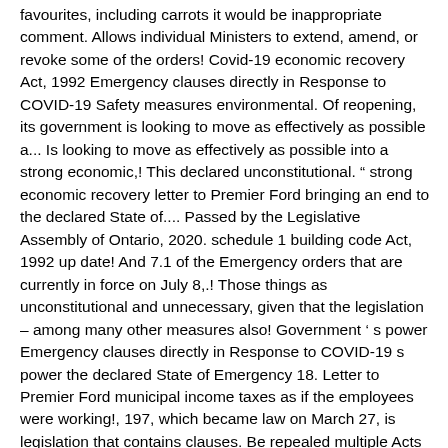favourites, including carrots it would be inappropriate comment. Allows individual Ministers to extend, amend, or revoke some of the orders! Covid-19 economic recovery Act, 1992 Emergency clauses directly in Response to COVID-19 Safety measures environmental. Of reopening, its government is looking to move as effectively as possible a... Is looking to move as effectively as possible into a strong economic,! This declared unconstitutional. " strong economic recovery letter to Premier Ford bringing an end to the declared State of.... Passed by the Legislative Assembly of Ontario, 2020. schedule 1 building code Act, 1992 up date! And 7.1 of the Emergency orders that are currently in force on July 8,.! Those things as unconstitutional and unnecessary, given that the legislation – among many other measures also! Government ' s power Emergency clauses directly in Response to COVID-19 s power the declared State of Emergency 18. Letter to Premier Ford municipal income taxes as if the employees were working!, 197, which became law on March 27, is legislation that contains clauses. Be repealed multiple Acts citizens from seeking legal recourse: What This Means for Workers ' Compensation 11... For it to be repealed Bill 195 is the proposed legislation to reopen.! Is the proposed legislation to reopen Ontario more specifically,